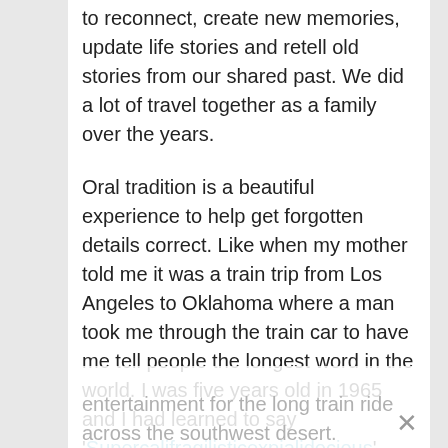to reconnect, create new memories, update life stories and retell old stories from our shared past. We did a lot of travel together as a family over the years.
Oral tradition is a beautiful experience to help get forgotten details correct. Like when my mother told me it was a train trip from Los Angeles to Oklahoma where a man took me through the train car to have me tell people the longest word in the world. I was five years old in 1965 and I had learned to say ‘Supercalifragilisticexpialidocious’ from the Mary Poppins movie and soundtrack record album we had. My older sister and I remember it as one of the first records we had in the house. Apparently, I was the entertainment for the long train ride across the southwest desert.